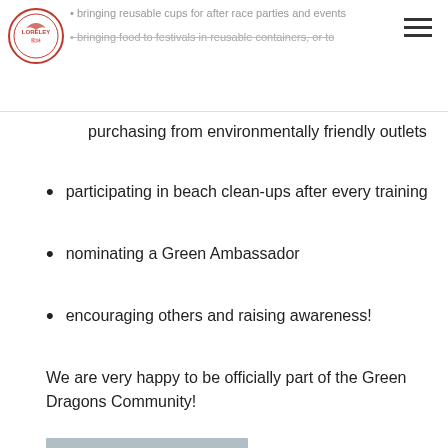bringing reusable cups for after race parties and events • bringing food to festivals in reusable containers, or to
purchasing from environmentally friendly outlets
participating in beach clean-ups after every training
nominating a Green Ambassador
encouraging others and raising awareness!
We are very happy to be officially part of the Green Dragons Community!
[Figure (photo): Person wearing a white cap standing on a beach with grey sky and boats in background]
[Figure (photo): Two people wearing white caps smiling on a beach with hills in background]